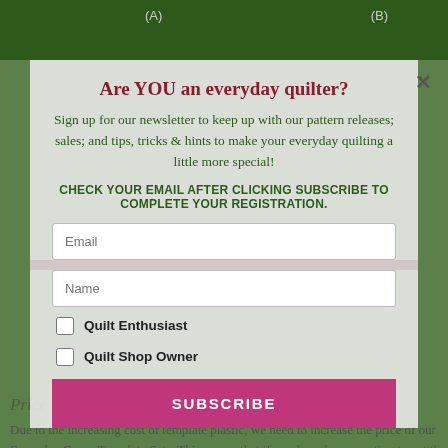Are YOU an everyday quilter?
Sign up for our newsletter to keep up with our pattern releases; sales; and tips, tricks & hints to make your everyday quilting a little more special!
CHECK YOUR EMAIL AFTER CLICKING SUBSCRIBE TO COMPLETE YOUR REGISTRATION.
Email
Name
Quilt Enthusiast
Quilt Shop Owner
Price Increase Alert!
Due to the increasing cost of template plastic, we need to increase the price of our Everyday Curve Template Sets. This means that if you have been wanting to get the templates, now is the time to get your
SUBSCRIBE